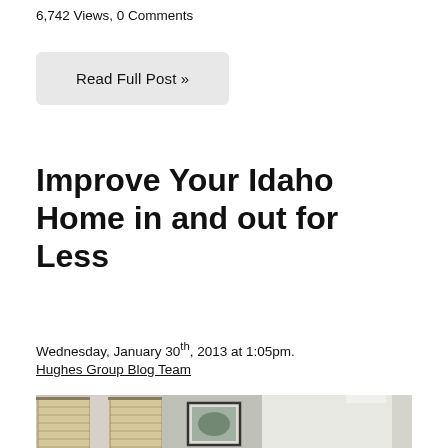6,742 Views, 0 Comments
Read Full Post »
Improve Your Idaho Home in and out for Less
Wednesday, January 30th, 2013 at 1:05pm.
Hughes Group Blog Team
[Figure (photo): Interior home photo showing a hallway and living area with bamboo shades on windows, framed artwork on the wall, and a bright room in the background.]